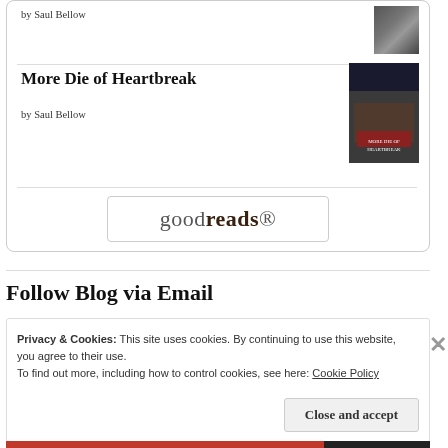by Saul Bellow
More Die of Heartbreak
by Saul Bellow
[Figure (logo): Goodreads logo in a rounded rectangle button]
Follow Blog via Email
Privacy & Cookies: This site uses cookies. By continuing to use this website, you agree to their use.
To find out more, including how to control cookies, see here: Cookie Policy
Close and accept